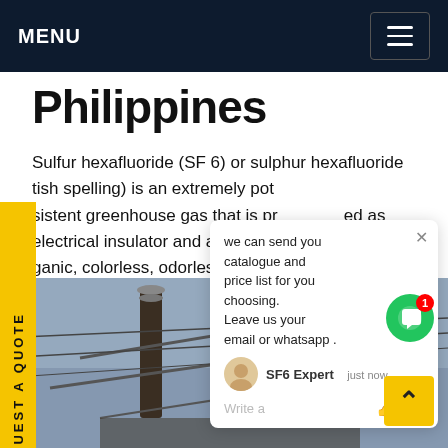MENU
Philippines
Sulfur hexafluoride (SF 6) or sulphur hexafluoride (British spelling) is an extremely potent and persistent greenhouse gas that is primarily utilized as an electrical insulator and arc suppression. It is an inorganic, colorless, odorless, non-flammable, non-toxic. SF 6 has an octahedral geometry, consisting of six fluorine atoms attached to a central sulfur atom. Get price
[Figure (screenshot): Chat popup overlay showing: 'we can send you catalogue and price list for you choosing. Leave us your email or whatsapp .' with SF6 Expert avatar, 'just now' timestamp, and write/like/attachment icons. Green chat bubble with red notification badge (1).]
[Figure (photo): Photo of electrical substation equipment with tall cylindrical insulators/bushings against a sky background, seen from below.]